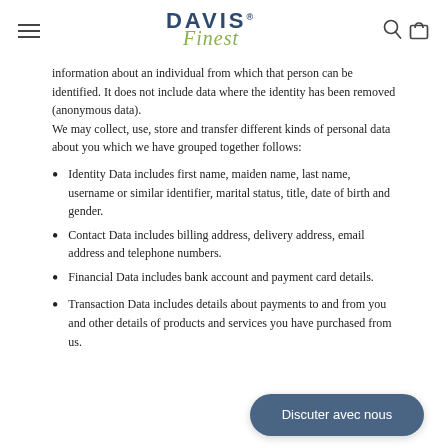DAVIS Finest — Navigation bar with hamburger menu, logo, search and cart icons
information about an individual from which that person can be identified. It does not include data where the identity has been removed (anonymous data).
We may collect, use, store and transfer different kinds of personal data about you which we have grouped together follows:
Identity Data includes first name, maiden name, last name, username or similar identifier, marital status, title, date of birth and gender.
Contact Data includes billing address, delivery address, email address and telephone numbers.
Financial Data includes bank account and payment card details.
Transaction Data includes details about payments to and from you and other details of products and services you have purchased from us.